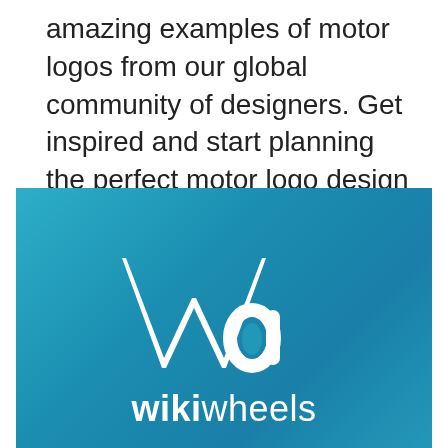amazing examples of motor logos from our global community of designers. Get inspired and start planning the perfect motor logo design today.
[Figure (logo): WikiWheels logo on a teal/blue gradient background. Features a stylized 'W' icon with a circular element and the wordmark 'wikiwheels' in white text below, with 'wiki' in bold and 'wheels' in light weight.]